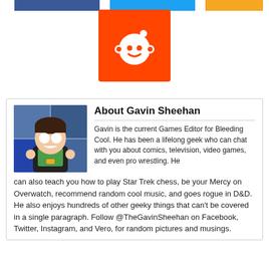[Figure (logo): Top partial social media icon bars (Facebook blue, Twitter light blue, orange) and Reddit alien logo on red square background]
About Gavin Sheehan
Gavin is the current Games Editor for Bleeding Cool. He has been a lifelong geek who can chat with you about comics, television, video games, and even pro wrestling. He can also teach you how to play Star Trek chess, be your Mercy on Overwatch, recommend random cool music, and goes rogue in D&D. He also enjoys hundreds of other geeky things that can't be covered in a single paragraph. Follow @TheGavinSheehan on Facebook, Twitter, Instagram, and Vero, for random pictures and musings.